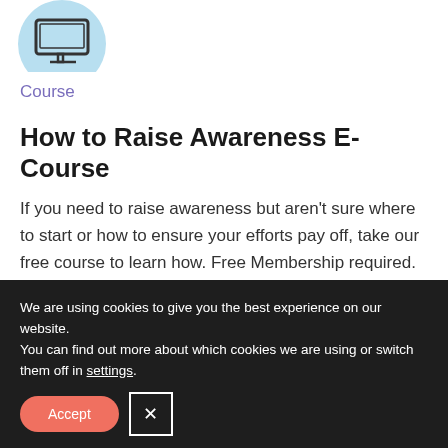[Figure (illustration): Light blue circle with a monitor/computer screen icon in dark outline on top]
Course
How to Raise Awareness E-Course
If you need to raise awareness but aren't sure where to start or how to ensure your efforts pay off, take our free course to learn how. Free Membership required.
We are using cookies to give you the best experience on our website.
You can find out more about which cookies we are using or switch them off in settings.